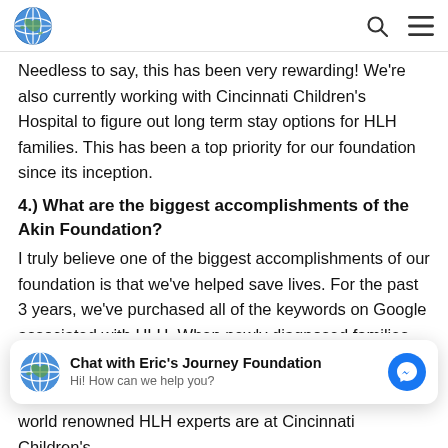[Figure (screenshot): Website navigation bar with globe logo on left, search icon and hamburger menu icon on right]
Needless to say, this has been very rewarding!  We're also currently working with Cincinnati Children's Hospital to figure out long term stay options for HLH families.  This has been a top priority for our foundation since its inception.
4.) What are the biggest accomplishments of the Akin Foundation?
I truly believe one of the biggest accomplishments of our foundation is that we've helped save lives. For the past 3 years, we've purchased all of the keywords on Google associated with HLH.  When newly diagnosed families are told their loved one has HLH the first thing they do is
[Figure (screenshot): Chat widget for Eric's Journey Foundation with globe logo, chat title 'Chat with Eric's Journey Foundation', subtitle 'Hi! How can we help you?' and blue Messenger icon]
world renowned HLH experts are at Cincinnati Children's